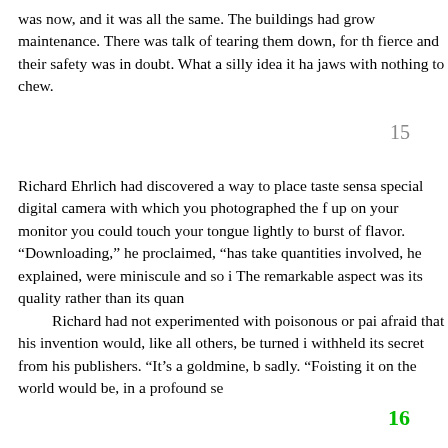was now, and it was all the same. The buildings had grow maintenance. There was talk of tearing them down, for th fierce and their safety was in doubt. What a silly idea it ha jaws with nothing to chew.
15
Richard Ehrlich had discovered a way to place taste sensa special digital camera with which you photographed the f up on your monitor you could touch your tongue lightly to burst of flavor. “Downloading,” he proclaimed, “has take quantities involved, he explained, were miniscule and so i The remarkable aspect was its quality rather than its quan Richard had not experimented with poisonous or pai afraid that his invention would, like all others, be turned i withheld its secret from his publishers. “It’s a goldmine, b sadly. “Foisting it on the world would be, in a profound se
16